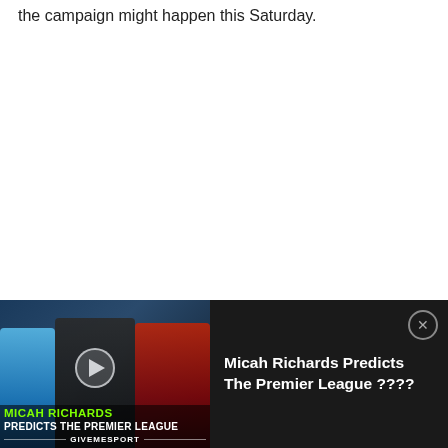the campaign might happen this Saturday.
City may have won the title in Hollywood style, but it cannot be forgotten they were expected to beat QPR.
[Figure (screenshot): Video thumbnail overlay banner for 'Micah Richards Predicts The Premier League ????' showing football players and a play button, with a close button on the right side.]